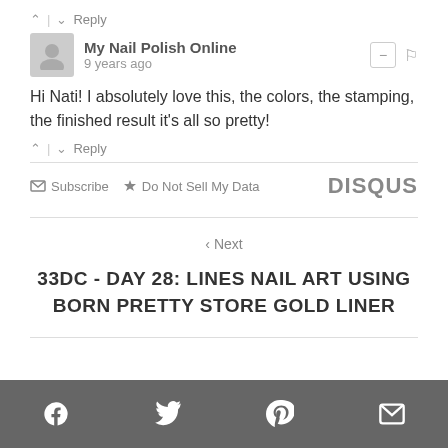^ | v Reply
My Nail Polish Online · 9 years ago
Hi Nati! I absolutely love this, the colors, the stamping, the finished result it's all so pretty!
^ | v Reply
Subscribe  Do Not Sell My Data  DISQUS
< Next
33DC - DAY 28: LINES NAIL ART USING BORN PRETTY STORE GOLD LINER
Social icons: Facebook, Twitter, Pinterest, Email